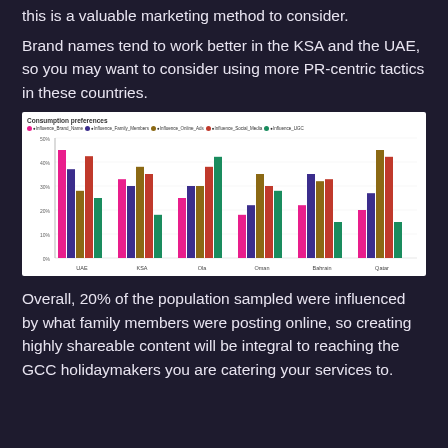this is a valuable marketing method to consider.
Brand names tend to work better in the KSA and the UAE, so you may want to consider using more PR-centric tactics in these countries.
[Figure (grouped-bar-chart): Consumption preferences]
Overall, 20% of the population sampled were influenced by what family members were posting online, so creating highly shareable content will be integral to reaching the GCC holidaymakers you are catering your services to.